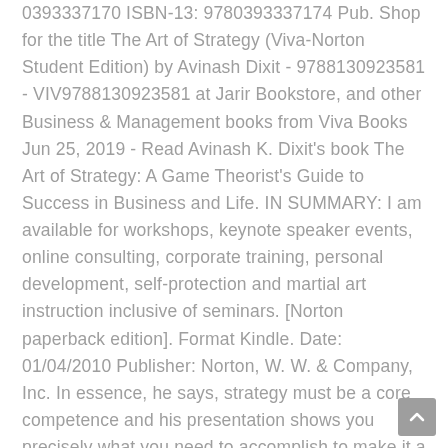0393337170 ISBN-13: 9780393337174 Pub. Shop for the title The Art of Strategy (Viva-Norton Student Edition) by Avinash Dixit - 9788130923581 - VIV9788130923581 at Jarir Bookstore, and other Business & Management books from Viva Books Jun 25, 2019 - Read Avinash K. Dixit's book The Art of Strategy: A Game Theorist's Guide to Success in Business and Life. IN SUMMARY: I am available for workshops, keynote speaker events, online consulting, corporate training, personal development, self-protection and martial art instruction inclusive of seminars. [Norton paperback edition]. Format Kindle. Date: 01/04/2010 Publisher: Norton, W. W. & Company, Inc. In essence, he says, strategy must be a core competence and his presentation shows you precisely what you need to accomplish to make it a core state of the art competence. Read an excerpt of this book! The Art of Strategy By Claire Palo. The Art of Strategy: A Game Theorist's Guide to Success in Business and Life (English Edition) Avinash K. Dixit. Mastering the Rules of Competitive Strategy: A Resource Guide for Managers blends selected